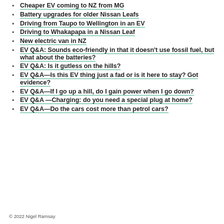Cheaper EV coming to NZ from MG
Battery upgrades for older Nissan Leafs
Driving from Taupo to Wellington in an EV
Driving to Whakapapa in a Nissan Leaf
New electric van in NZ
EV Q&A: Sounds eco-friendly in that it doesn't use fossil fuel, but what about the batteries?
EV Q&A: Is it gutless on the hills?
EV Q&A—Is this EV thing just a fad or is it here to stay? Got evidence?
EV Q&A—If I go up a hill, do I gain power when I go down?
EV Q&A —Charging: do you need a special plug at home?
EV Q&A—Do the cars cost more than petrol cars?
© 2022 Nigel Ramsay